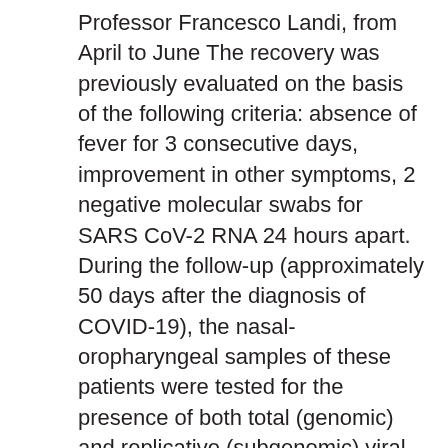Professor Francesco Landi, from April to June The recovery was previously evaluated on the basis of the following criteria: absence of fever for 3 consecutive days, improvement in other symptoms, 2 negative molecular swabs for SARS CoV-2 RNA 24 hours apart. During the follow-up (approximately 50 days after the diagnosis of COVID-19), the nasal-oropharyngeal samples of these patients were tested for the presence of both total (genomic) and replicative (subgenomic) viral RNA.
«The presence of replicative RNAs in the samples was used as an indicator of ongoing viral replication. In patients who tested positive for total RNA, the samples obtained at the time